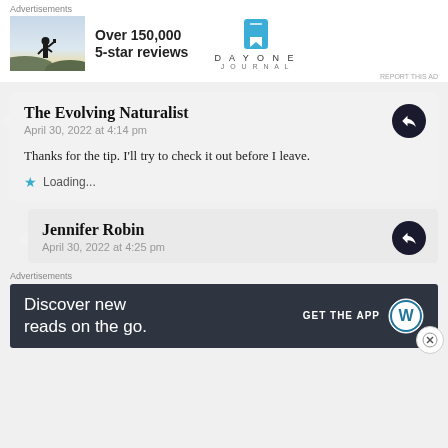[Figure (screenshot): Advertisement banner with photo of person, Over 150,000 5-star reviews text, and Day One Journal logo]
The Evolving Naturalist
April 30, 2022 at 4:14 pm
Thanks for the tip. I'll try to check it out before I leave.
Loading...
Jennifer Robin
April 30, 2022 at 4:25 pm
[Figure (screenshot): Advertisement: Discover new reads on the go. GET THE APP WordPress logo]